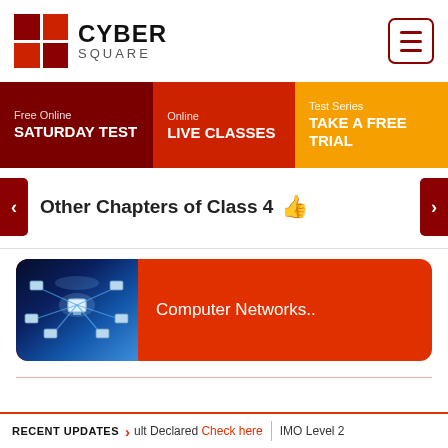[Figure (logo): CyberSquare logo with red/dark-red grid squares and text CYBER SQUARE]
[Figure (infographic): Navigation bar with three sections: Free Online SATURDAY TEST (dark red), Online LIVE CLASSES (red), Test Series TAKE A FREE TRIAL (orange)]
Other Chapters of Class 4 👍
[Figure (screenshot): Card showing Computer Networks.. with a network diagram image on orange-red background]
RECENT UPDATES > ult Declared Check here | IMO Level 2